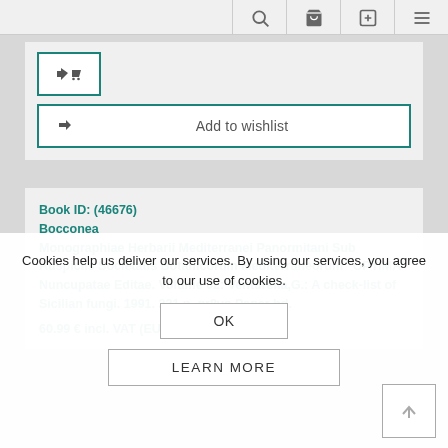[Figure (screenshot): Top navigation bar with search, cart, edit, and menu icons]
[Figure (screenshot): Share and cart button with teal border]
[Figure (screenshot): Add to wishlist button with teal border and arrow icon]
Book ID: (46676)
Bocconea
Monographiae Herbarii Mediterranei Panormitani Sub Auspiciis Societatis Botanicorum Mediterraneorum "OPTIMA" Nuncupatae Editae. Volume 02: Venturella,G.: A check-list of Sicilian fungi. 1991. 221 p. gr8vo.Paper bd.
60.99 € incl. VAT (EU buyers) *
Cookies help us deliver our services. By using our services, you agree to our use of cookies.
[Figure (screenshot): OK button]
[Figure (screenshot): LEARN MORE button]
[Figure (screenshot): Back to top arrow button]